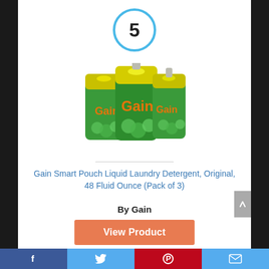[Figure (other): Number 5 inside a blue circle badge]
[Figure (photo): Three Gain Smart Pouch Liquid Laundry Detergent packages grouped together, green and yellow packaging with orange Gain logo]
Gain Smart Pouch Liquid Laundry Detergent, Original, 48 Fluid Ounce (Pack of 3)
By Gain
View Product
7.8
Facebook  Twitter  Pinterest  Email